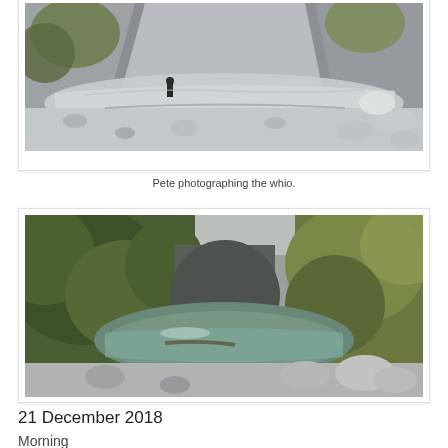[Figure (photo): A rocky river gorge with steep grey cliffs and vegetation. A person is visible in the middle distance photographing something along the river bank. Rocky riverbed with shallow water visible.]
Pete photographing the whio.
[Figure (photo): A rocky river gorge with lush green vegetation on both sides. A clear pool of greenish water sits between rocky banks, with large boulders visible in the foreground and dense bush surrounding the gorge.]
21 December 2018
Morning